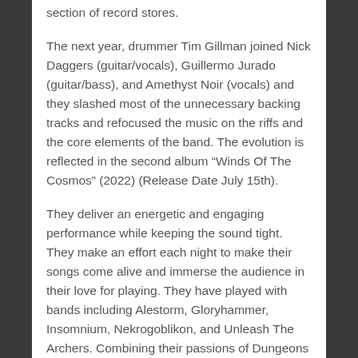section of record stores.
The next year, drummer Tim Gillman joined Nick Daggers (guitar/vocals), Guillermo Jurado (guitar/bass), and Amethyst Noir (vocals) and they slashed most of the unnecessary backing tracks and refocused the music on the riffs and the core elements of the band. The evolution is reflected in the second album “Winds Of The Cosmos” (2022) (Release Date July 15th).
They deliver an energetic and engaging performance while keeping the sound tight. They make an effort each night to make their songs come alive and immerse the audience in their love for playing. They have played with bands including Alestorm, Gloryhammer, Insomnium, Nekrogoblikon, and Unleash The Archers. Combining their passions of Dungeons and Dragons, space adventure, and fantasy, Celestial Wizard takes influences like Arch Enemy,